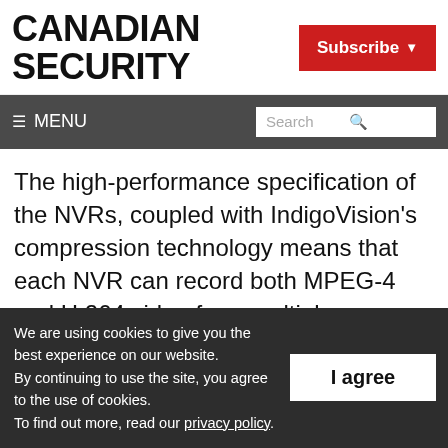CANADIAN SECURITY
Subscribe
☰ MENU   Search
The high-performance specification of the NVRs, coupled with IndigoVision's compression technology means that each NVR can record both MPEG-4 and H.264 video from multiple cameras for long periods of time. For example, a single NVR-AS 3000 can record H.264 video
We are using cookies to give you the best experience on our website.
By continuing to use the site, you agree to the use of cookies.
To find out more, read our privacy policy.
I agree